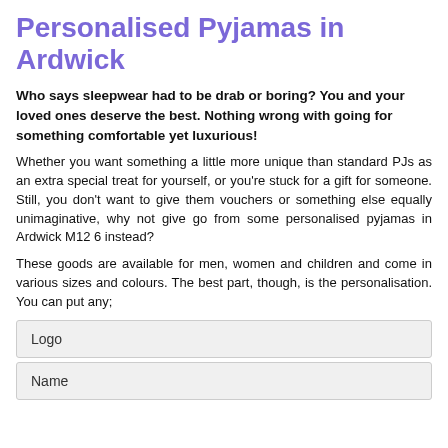Personalised Pyjamas in Ardwick
Who says sleepwear had to be drab or boring? You and your loved ones deserve the best. Nothing wrong with going for something comfortable yet luxurious!
Whether you want something a little more unique than standard PJs as an extra special treat for yourself, or you're stuck for a gift for someone. Still, you don't want to give them vouchers or something else equally unimaginative, why not give go from some personalised pyjamas in Ardwick M12 6 instead?
These goods are available for men, women and children and come in various sizes and colours. The best part, though, is the personalisation. You can put any;
Logo
Name